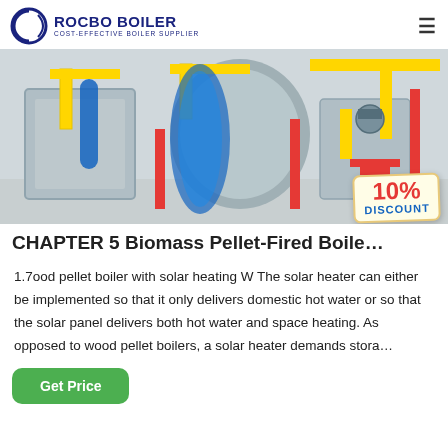ROCBO BOILER — COST-EFFECTIVE BOILER SUPPLIER
[Figure (photo): Industrial boiler room with large cylindrical boilers wrapped in blue insulation, yellow and red pipes, metallic housings, in a white-tiled facility. A 10% DISCOUNT badge is overlaid on the bottom right.]
CHAPTER 5 Biomass Pellet-Fired Boile…
1.7ood pellet boiler with solar heating W The solar heater can either be implemented so that it only delivers domestic hot water or so that the solar panel delivers both hot water and space heating. As opposed to wood pellet boilers, a solar heater demands stora…
Get Price